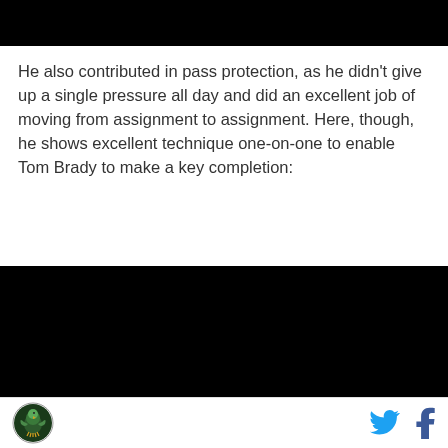[Figure (photo): Black redacted/video placeholder bar at the top of the page]
He also contributed in pass protection, as he didn't give up a single pressure all day and did an excellent job of moving from assignment to assignment. Here, though, he shows excellent technique one-on-one to enable Tom Brady to make a key completion:
[Figure (photo): Black redacted/video placeholder bar in the lower portion of the page]
Footer with site logo on left and Twitter and Facebook share icons on right